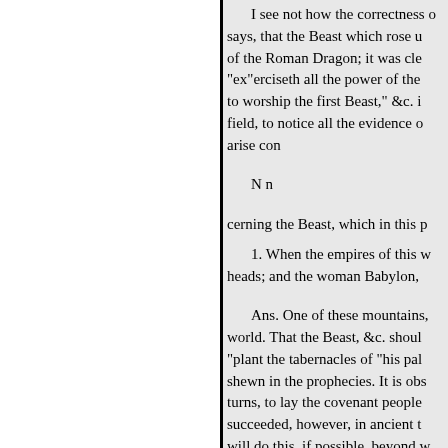I see not how the correctness of says, that the Beast which rose up of the Roman Dragon; it was cle "ex"erciseth all the power of the to worship the first Beast," &c. i field, to notice all the evidence o arise con
N n
cerning the Beast, which in this p
1. When the empires of this w heads; and the woman Babylon,
Ans. One of these mountains, world. That the Beast, &c. shoul "plant the tabernacles of "his pal shewn in the prophecies. It is obs turns, to lay the covenant people succeeded, however, in ancient t will do this, if possible, beyond w gives
both the sanctuary and the host t nify himself even to" he "thr